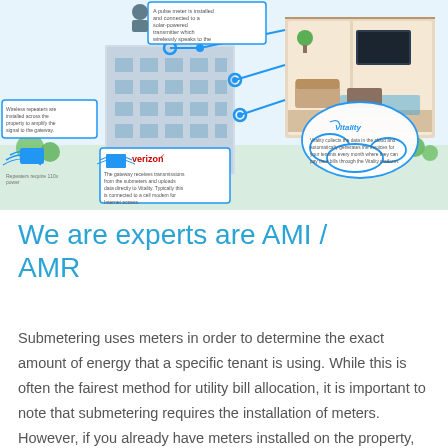[Figure (infographic): AMI/AMR submetering system infographic showing a multi-unit building with wireless repeaters, a Verizon gateway device, cloud connectivity via Vitality platform, and a cutaway apartment view. Callout boxes describe: meter transmitter connected to gateway, wireless repeaters amplifying signal, gateway receiving and uploading data via cell modem, and Vitality cloud generating invoices for tenants.]
We are experts are AMI / AMR
Submetering uses meters in order to determine the exact amount of energy that a specific tenant is using. While this is often the fairest method for utility bill allocation, it is important to note that submetering requires the installation of meters. However, if you already have meters installed on the property, we can integrate them to our platform to meet all of your submetering